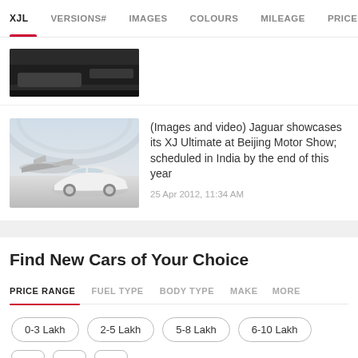XJL  VERSIONS#  IMAGES  COLOURS  MILEAGE  PRICE  EM…
[Figure (photo): Partial dark car interior/exterior image thumbnail at top of page]
[Figure (photo): Jaguar XJ Ultimate white luxury sedan in a hangar with a private jet, showroom-style photo]
(Images and video) Jaguar showcases its XJ Ultimate at Beijing Motor Show; scheduled in India by the end of this year
25 Apr 2012, 11:34 AM
Find New Cars of Your Choice
PRICE RANGE  FUEL TYPE  BODY TYPE  MAKE  MORE
0-3 Lakh
2-5 Lakh
5-8 Lakh
6-10 Lakh